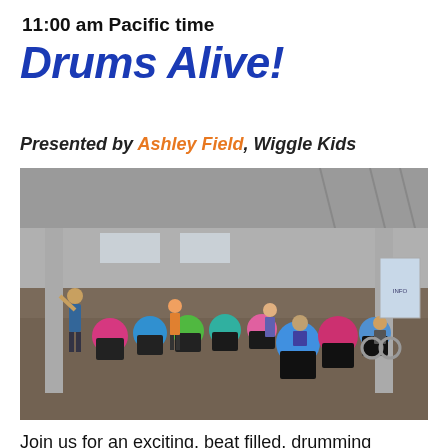11:00 am Pacific time
Drums Alive!
Presented by Ashley Field, Wiggle Kids
[Figure (photo): Group of children and adults performing a Drums Alive drumming workout in a large convention center hall. Participants stand next to colorful exercise balls (pink, blue, green, teal) placed in black buckets arranged in a line, using drumsticks to beat the balls. An instructor leads at the front left. Some participants are in wheelchairs.]
Join us for an exciting, beat filled, drumming workout with Ashley Field and Drums Alive!